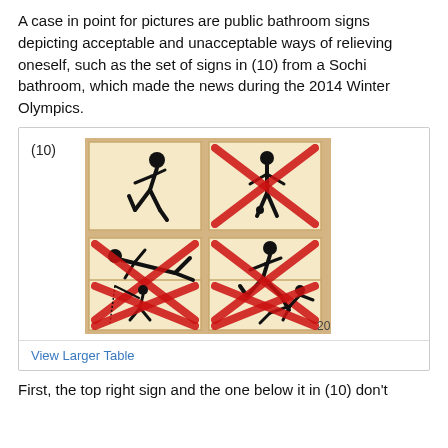A case in point for pictures are public bathroom signs depicting acceptable and unacceptable ways of relieving oneself, such as the set of signs in (10) from a Sochi bathroom, which made the news during the 2014 Winter Olympics.
[Figure (illustration): A 2x3 grid of bathroom instruction signs from a Sochi bathroom. Top-left: stick figure squatting correctly (no X). Top-right: stick figure with X (incorrect). Middle-left: stick figure lying down with X. Middle-right: stick figure squatting with X. Bottom-left: stick figure with rod/fishing with X. Bottom-right: stick figure crawling with X. Number '20' in bottom-right corner.]
View Larger Table
First, the top right sign and the one below it in (10) don't